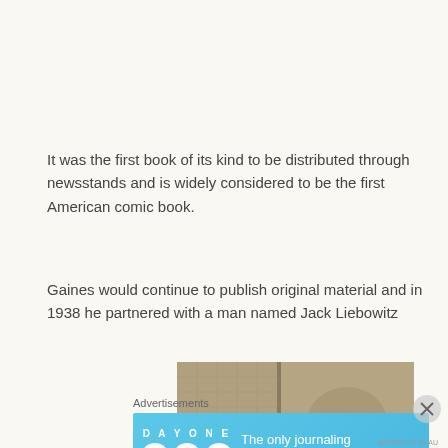It was the first book of its kind to be distributed through newsstands and is widely considered to be the first American comic book.
Gaines would continue to publish original material and in 1938 he partnered with a man named Jack Liebowitz
[Figure (photo): Sepia-toned historical photograph, partially visible, showing an interior scene]
Advertisements
[Figure (illustration): Day One journaling app advertisement banner with blue background, app icons, and text 'The only journaling app you'll ever need.']